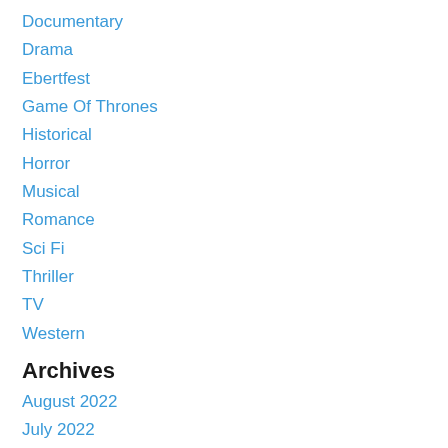Documentary
Drama
Ebertfest
Game Of Thrones
Historical
Horror
Musical
Romance
Sci Fi
Thriller
TV
Western
Archives
August 2022
July 2022
June 2022
May 2022
April 2022
March 2022
February 2022